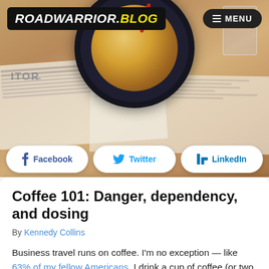[Figure (photo): Hero image of a coffee cup on a dark saucer with newspaper and wooden background, overlaid with the ROADWARRIOR.BLOG header and social sharing buttons]
ROADWARRIOR.BLOG  MENU
Coffee 101: Danger, dependency, and dosing
By Kennedy Collins
Business travel runs on coffee. I'm no exception — like 63% of my fellow Americans, I drink a cup of coffee (or two, or four) pretty much every day.
I picked up the habit in architecture school, where it was fairly hard to avoid — I would guess that, as a